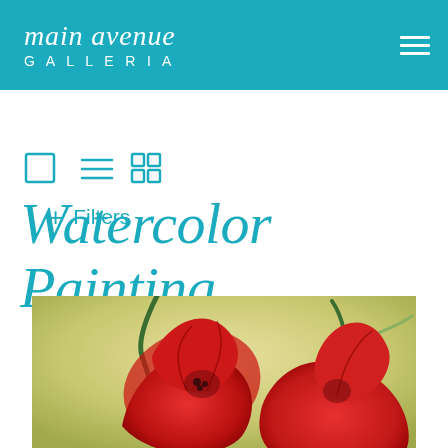main avenue GALLERIA
+ Filters
[Figure (other): View mode icons: single square, list lines, four-square grid]
Watercolor Painting
[Figure (photo): Watercolor painting of two large red poppy flowers with green stems on a yellow-green background]